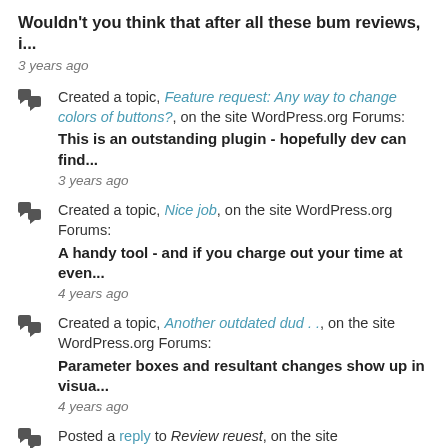Wouldn't you think that after all these bum reviews, i... — 3 years ago
Created a topic, Feature request: Any way to change colors of buttons?, on the site WordPress.org Forums: This is an outstanding plugin - hopefully dev can find... — 3 years ago
Created a topic, Nice job, on the site WordPress.org Forums: A handy tool - and if you charge out your time at even... — 4 years ago
Created a topic, Another outdated dud . . , on the site WordPress.org Forums: Parameter boxes and resultant changes show up in visua... — 4 years ago
Posted a reply to Review reuest, on the site WordPress.org Forums: I suspect this relates to a plugin that we tried some time ago then deleted.... — 4 years ago